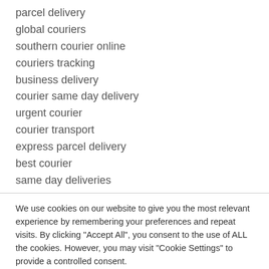parcel delivery
global couriers
southern courier online
couriers tracking
business delivery
courier same day delivery
urgent courier
courier transport
express parcel delivery
best courier
same day deliveries
We use cookies on our website to give you the most relevant experience by remembering your preferences and repeat visits. By clicking "Accept All", you consent to the use of ALL the cookies. However, you may visit "Cookie Settings" to provide a controlled consent.
Cookie Settings | Accept All | Privacy Policy